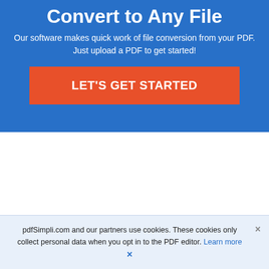Convert to Any File
Our software makes quick work of file conversion from your PDF. Just upload a PDF to get started!
LET'S GET STARTED
What we do Best
pdfSimpli.com and our partners use cookies. These cookies only collect personal data when you opt in to the PDF editor. Learn more